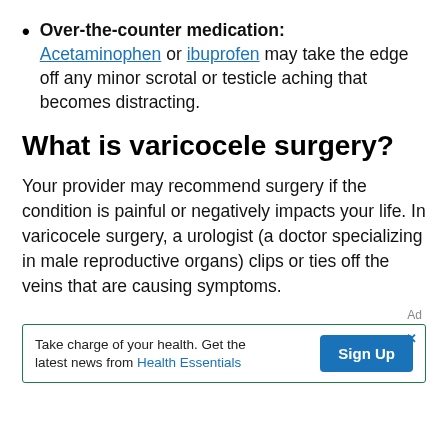Over-the-counter medication: Acetaminophen or ibuprofen may take the edge off any minor scrotal or testicle aching that becomes distracting.
What is varicocele surgery?
Your provider may recommend surgery if the condition is painful or negatively impacts your life. In varicocele surgery, a urologist (a doctor specializing in male reproductive organs) clips or ties off the veins that are causing symptoms.
[Figure (infographic): Advertisement banner: 'Take charge of your health. Get the latest news from Health Essentials' with a Sign Up button.]